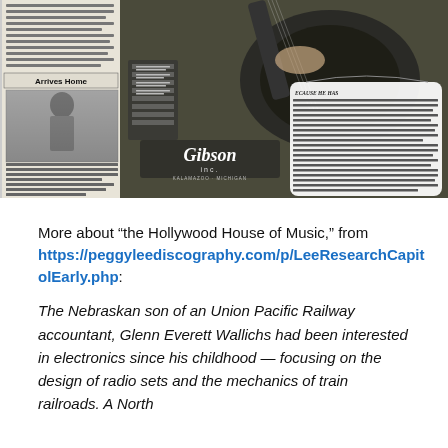[Figure (photo): Vintage newspaper clipping collage showing a Gibson Inc. guitar advertisement featuring a person playing an archtop guitar, with text praising Lou Bennett as an MGM contract actor and radio star who plays Gibson guitar. Also shows a small inset photo labeled 'Arrives Home' of a man (Dick Jackson) departing a plane at Oakland.]
More about “the Hollywood House of Music,” from
https://peggyleediscography.com/p/LeeResearchCapitolEarly.php:
The Nebraskan son of an Union Pacific Railway accountant, Glenn Everett Wallichs had been interested in electronics since his childhood — focusing on the design of radio sets and the mechanics of train railroads. A North